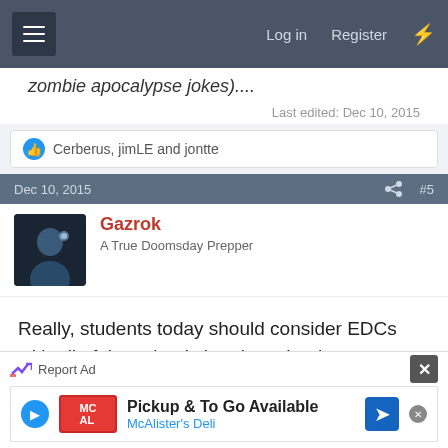Log in  Register
zombie apocalypse jokes)....
Last edited: Dec 10, 2015
Cerberus, jimLE and jontte
Dec 10, 2015  #5
Gazrok
A True Doomsday Prepper
Really, students today should consider EDCs with all of the school shootings that have happened in recent years. The ability to wrap some wire around a double door handle could have saved lives, for example.
If such doors are pretty standard in your school
Report Ad  Pickup & To Go Available  McAlister's Deli